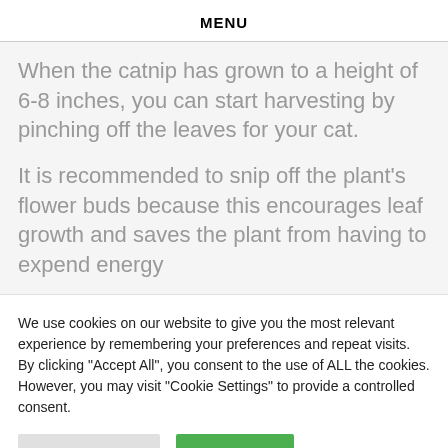MENU
When the catnip has grown to a height of 6-8 inches, you can start harvesting by pinching off the leaves for your cat.
It is recommended to snip off the plant's flower buds because this encourages leaf growth and saves the plant from having to expend energy
We use cookies on our website to give you the most relevant experience by remembering your preferences and repeat visits. By clicking "Accept All", you consent to the use of ALL the cookies. However, you may visit "Cookie Settings" to provide a controlled consent.